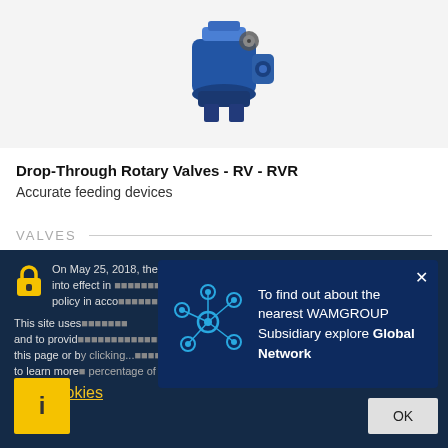[Figure (photo): Blue industrial drop-through rotary valve product photo on light grey background]
Drop-Through Rotary Valves - RV - RVR
Accurate feeding devices
VALVES
[Figure (photo): Second industrial valve product partially visible at bottom of page]
On May 25, 2018, the new General Data Protection Regulation (GDPR) enters into effect in [text continues]. policy in acco[rdance...]
This site uses [cookies] and to provid[e...] this page or b[y clicking...] to learn more [about...] and Cookies
To find out about the nearest WAMGROUP Subsidiary explore Global Network
Privacy Policy